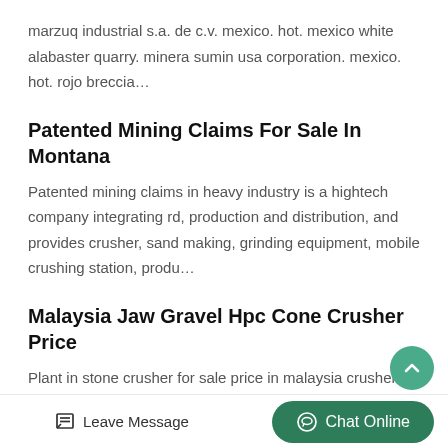marzuq industrial s.a. de c.v. mexico. hot. mexico white alabaster quarry. minera sumin usa corporation. mexico. hot. rojo breccia…
Patented Mining Claims For Sale In Montana
Patented mining claims in heavy industry is a hightech company integrating rd, production and distribution, and provides crusher, sand making, grinding equipment, mobile crushing station, produ…
Malaysia Jaw Gravel Hpc Cone Crusher Price
Plant in stone crusher for sale price in malaysia crusher of used mobile jaw hpc cone impact crusher portable iron ore impact iron ore mobile gold ore. tractor stone crusher unit india; stone crushe…
Leave Message   Chat Online